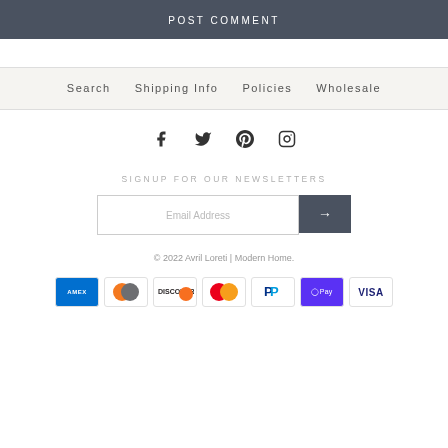POST COMMENT
Search   Shipping Info   Policies   Wholesale
[Figure (other): Social media icons: Facebook, Twitter, Pinterest, Instagram]
SIGNUP FOR OUR NEWSLETTERS
Email Address [submit button]
© 2022 Avril Loreti | Modern Home.
[Figure (other): Payment method icons: American Express, Diners Club, Discover, Mastercard, PayPal, Apple Pay, Visa]